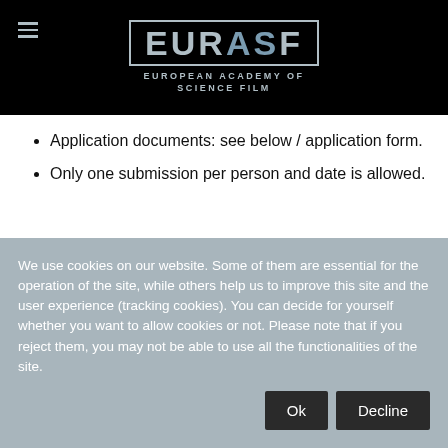EURASF — EUROPEAN ACADEMY OF SCIENCE FILM
Application documents: see below / application form.
Only one submission per person and date is allowed.
We use cookies on our website. Some of them are essential for the operation of the site, while others help us to improve this site and the user experience (tracking cookies). You can decide for yourself whether you want to allow cookies or not. Please note that if you reject them, you may not be able to use all the functionalities of the site.